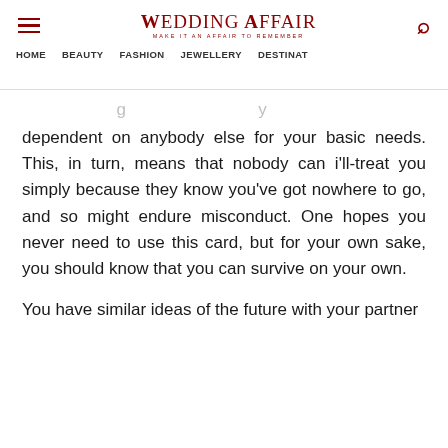Wedding Affair — MAKE IT AN AFFAIR TO REMEMBER | HOME | BEAUTY | FASHION | JEWELLERY | DESTINAT
dependent on anybody else for your basic needs. This, in turn, means that nobody can i'll-treat you simply because they know you've got nowhere to go, and so might endure misconduct. One hopes you never need to use this card, but for your own sake, you should know that you can survive on your own.
You have similar ideas of the future with your partner